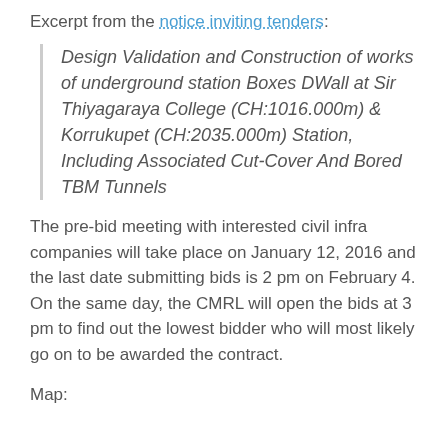Excerpt from the notice inviting tenders:
Design Validation and Construction of works of underground station Boxes DWall at Sir Thiyagaraya College (CH:1016.000m) & Korrukupet (CH:2035.000m) Station, Including Associated Cut-Cover And Bored TBM Tunnels
The pre-bid meeting with interested civil infra companies will take place on January 12, 2016 and the last date submitting bids is 2 pm on February 4. On the same day, the CMRL will open the bids at 3 pm to find out the lowest bidder who will most likely go on to be awarded the contract.
Map: